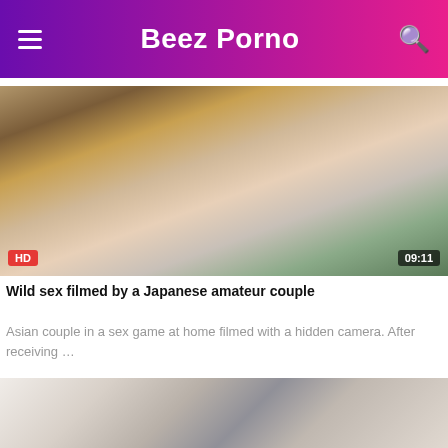Beez Porno
[Figure (screenshot): Video thumbnail showing a Japanese amateur couple, with HD badge and 09:11 duration overlay]
Wild sex filmed by a Japanese amateur couple
Asian couple in a sex game at home filmed with a hidden camera. After receiving …
[Figure (screenshot): Second video thumbnail showing two people in an office/indoor setting]